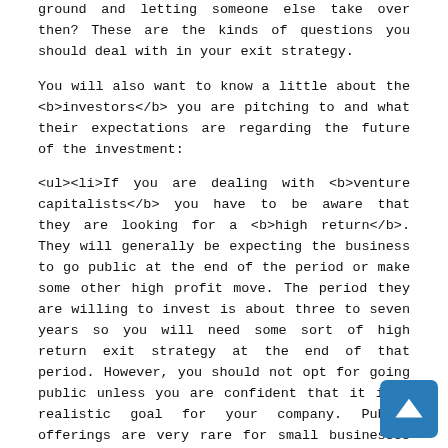ground and letting someone else take over then? These are the kinds of questions you should deal with in your exit strategy.
You will also want to know a little about the <b>investors</b> you are pitching to and what their expectations are regarding the future of the investment:
If you are dealing with <b>venture capitalists</b> you have to be aware that they are looking for a <b>high return</b>. They will generally be expecting the business to go public at the end of the period or make some other high profit move. The period they are willing to invest is about three to seven years so you will need some sort of high return exit strategy at the end of that period. However, you should not opt for going public unless you are confident that it is a realistic goal for your company. Public offerings are very rare for small businesses and the investors you are speaking to will be all too aware of that fact.
If you are considering an <b>angel investor</b> then again they will be looking for a high return but will not be overly concerned with the type of exit strategy under consideration, as long as it seems sound. They will be less sophisticated